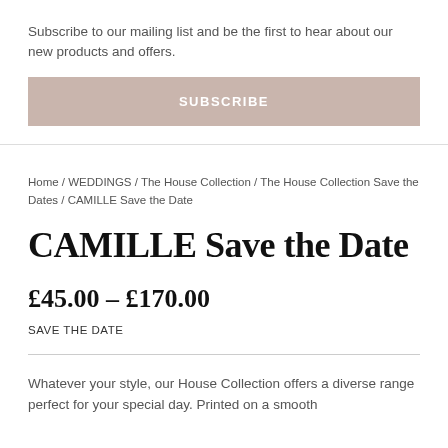Subscribe to our mailing list and be the first to hear about our new products and offers.
SUBSCRIBE
Home / WEDDINGS / The House Collection / The House Collection Save the Dates / CAMILLE Save the Date
CAMILLE Save the Date
£45.00 – £170.00
SAVE THE DATE
Whatever your style, our House Collection offers a diverse range perfect for your special day. Printed on a smooth